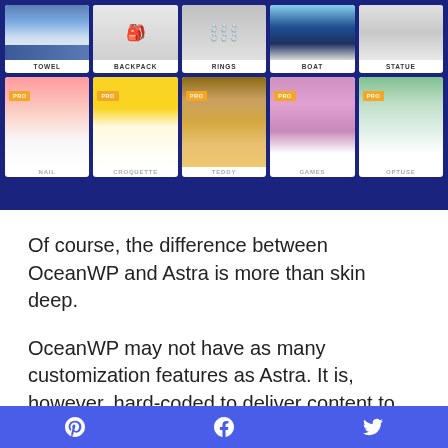[Figure (screenshot): Screenshot of a WordPress theme demo library showing two rows of theme cards. Top row: TOWEL, BACKPACK, RINGS, BOAT, STATUE. Bottom row (all marked PRO): NAIL, CROQUETTE, TEDDY, GAMES, OPTUSE. The interface has a dark navy blue background.]
Of course, the difference between OceanWP and Astra is more than skin deep.
OceanWP may not have as many customization features as Astra. It is, however, hard-coded to deliver content to users in a quick, minimalistic, and mobile-friendly fashion.
Pinterest | Facebook | Twitter social share icons